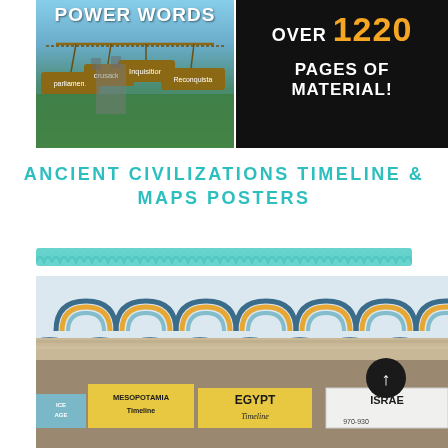[Figure (photo): Top banner split into two halves: left side shows 'POWER WORDS' text over a castle/medieval scene with hanging wooden signs reading 'parliament', 'crusades', 'Inquisition', 'Reconquista'; right side is black with text 'OVER 1220 PAGES OF MATERIAL!']
ANCIENT CIVILIZATIONS TIMELINE & MAPS POSTERS
[Figure (illustration): Teal/turquoise decorative horizontal bar with wavy zigzag pattern]
[Figure (photo): Photo of classroom wall display showing rainbow-pattern border strip above wooden plank shelf, with colorful timeline posters below including 'ICE AGE', 'MESOPOTAMIA Timeline', 'EGYPT Timeline', and 'ISRAEL' labels in yellow and white]